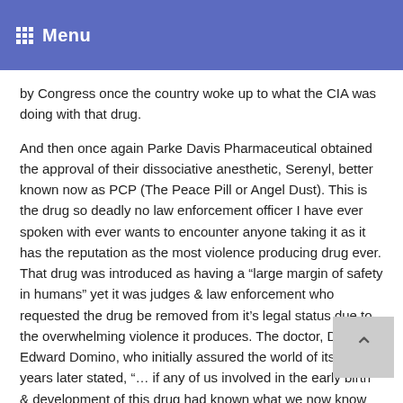Menu
by Congress once the country woke up to what the CIA was doing with that drug.
And then once again Parke Davis Pharmaceutical obtained the approval of their dissociative anesthetic, Serenyl, better known now as PCP (The Peace Pill or Angel Dust). This is the drug so deadly no law enforcement officer I have ever spoken with ever wants to encounter anyone taking it as it has the reputation as the most violence producing drug ever. That drug was introduced as having a “large margin of safety in humans” yet it was judges & law enforcement who requested the drug be removed from it’s legal status due to the overwhelming violence it produces. The doctor, Dr. Edward Domino, who initially assured the world of its safety years later stated, “… if any of us involved in the early birth & development of this drug had known what we now know would we ever have ventured further? What have we wrought?!”
Yet with these so called antidepressants that actually work very similarly to LSD & PCP by increasing serotonin in order to produce hallucinations/psychosis, we did not have to wait nearly